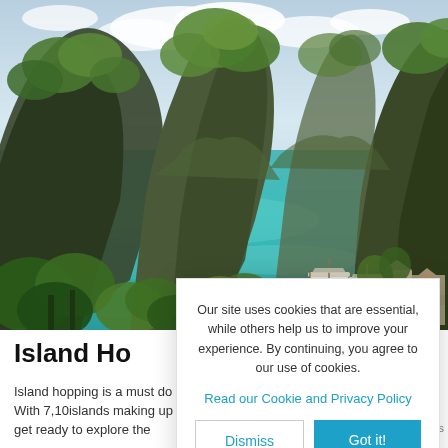[Figure (photo): Aerial/elevated view of a tropical island lagoon in the Philippines, showing steep karst limestone cliffs covered in lush green vegetation, turquoise-blue water, and traditional outrigger boats moored near a small settlement on the right shore.]
Island Ho...
Island hopping is a must do in The Philippines. With 7,107 islands making up the archipelago, get ready to explore the...
Our site uses cookies that are essential, while others help us to improve your experience. By continuing, you agree to our use of cookies.

Read our Cookie and Privacy Policy

[Dismiss] [Got it!]